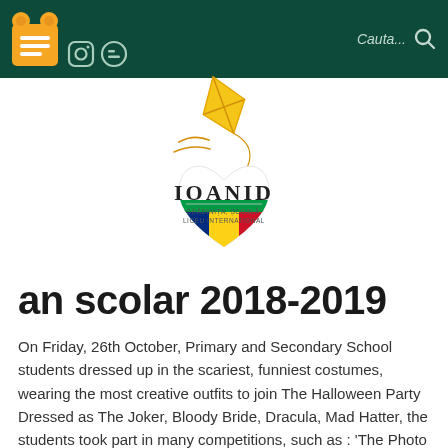Cauta...
[Figure (logo): Ioanid school logo: a heart-shaped shield with Romanian flag colors at the bottom, a kite above, and text IOANID GRĂDINIȚA, ȘCOALĂ, LICEU INTERNATIONAL]
an scolar 2018-2019
On Friday, 26th October, Primary and Secondary School students dressed up in the scariest, funniest costumes, wearing the most creative outfits to join The Halloween Party Dressed as The Joker, Bloody Bride, Dracula, Mad Hatter, the students took part in many competitions, such as : 'The Photo Challenge', 'Wrap The Mummy' and 'The Best Costume'. [...]